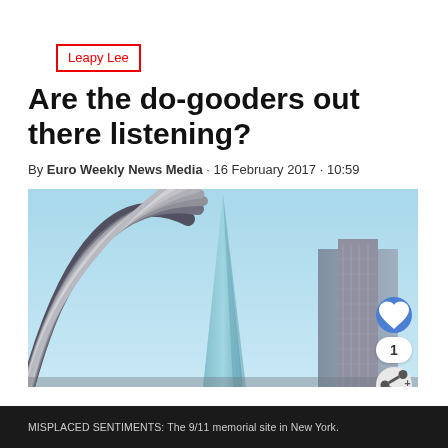Leapy Lee
Are the do-gooders out there listening?
By Euro Weekly News Media · 16 February 2017 · 10:59
[Figure (photo): Looking up at modern skyscrapers including a pointed glass tower against a blue sky, with steel architectural elements in the foreground, representing the 9/11 memorial site in New York]
MISPLACED SENTIMENTS: The 9/11 memorial site in New York.